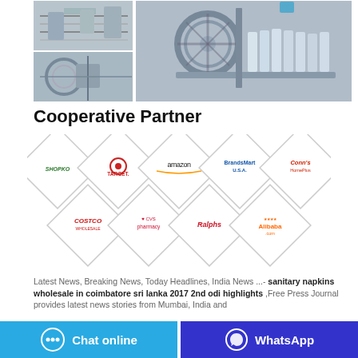[Figure (photo): Manufacturing facility photos showing machinery producing products - two smaller photos on left, one large photo on right]
Cooperative Partner
[Figure (infographic): Diamond-shaped logo tiles for cooperative partners: Shopko, Target, Amazon, BrandsMart USA, Conn's HomePlus (top row); Costco, CVS pharmacy, Ralphs, Alibaba.com (bottom row)]
Latest News, Breaking News, Today Headlines, India News ...- sanitary napkins wholesale in coimbatore sri lanka 2017 2nd odi highlights ,Free Press Journal provides latest news stories from Mumbai, India and
Chat online
WhatsApp